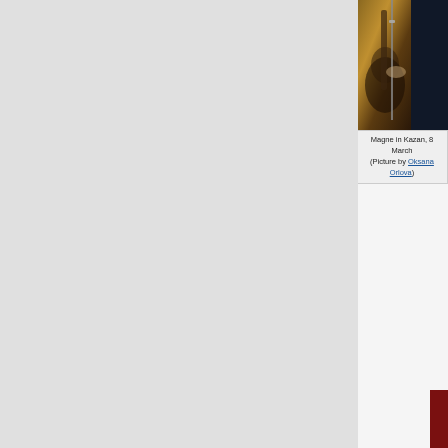[Figure (photo): Photo of Magne playing guitar on stage in Kazan, dark background with stage lighting]
Magne in Kazan, 8 March (Picture by Oksana Orlova)
been shuffled around quite a bit last nig
They usually experiment with different settles, so we'll see how it evolves fro Keep an eye on a-ha live on Twitter, as
One special thing about St. Petersburg was the local support band Red's Cool, an "uncompromising hard-rock band", which certainly stands out among the many support acts a-ha have had in recent years. Here's a short video clip of them on stage.
MøwAзаτïй, vocalist, Jasoc